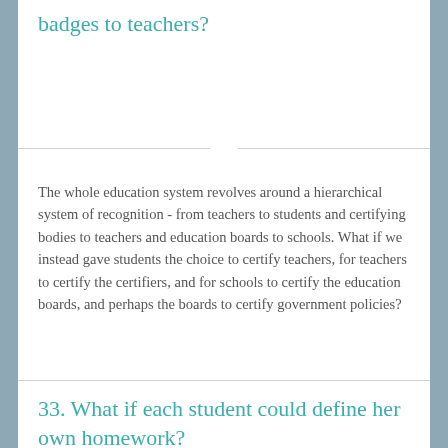badges to teachers?
The whole education system revolves around a hierarchical system of recognition - from teachers to students and certifying bodies to teachers and education boards to schools. What if we instead gave students the choice to certify teachers, for teachers to certify the certifiers, and for schools to certify the education boards, and perhaps the boards to certify government policies?
33. What if each student could define her own homework?